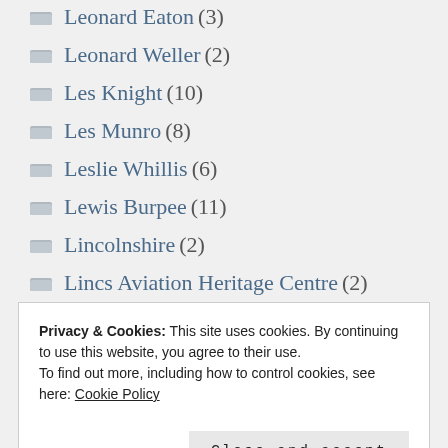Leonard Eaton (3)
Leonard Weller (2)
Les Knight (10)
Les Munro (8)
Leslie Whillis (6)
Lewis Burpee (11)
Lincolnshire (2)
Lincs Aviation Heritage Centre (2)
Lisa Harding (1)
Lutzow (4)
Privacy & Cookies: This site uses cookies. By continuing to use this website, you agree to their use.
To find out more, including how to control cookies, see here: Cookie Policy
Close and accept